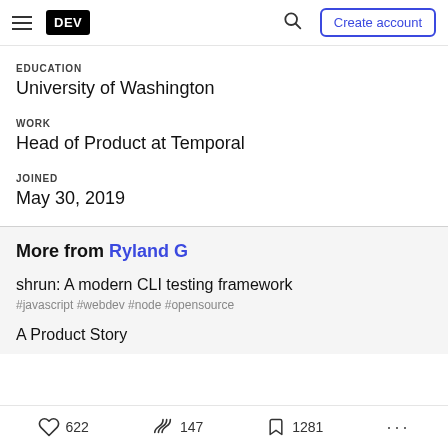DEV | Create account
EDUCATION
University of Washington
WORK
Head of Product at Temporal
JOINED
May 30, 2019
More from Ryland G
shrun: A modern CLI testing framework
#javascript #webdev #node #opensource
A Product Story
622  147  1281  ...